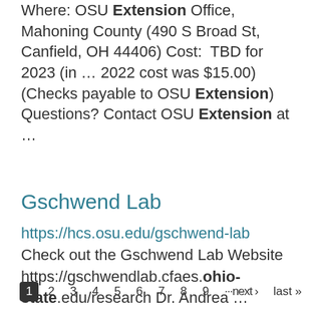Where: OSU Extension Office, Mahoning County (490 S Broad St, Canfield, OH 44406) Cost:  TBD for 2023 (in ... 2022 cost was $15.00) (Checks payable to OSU Extension) Questions? Contact OSU Extension at ...
Gschwend Lab
https://hcs.osu.edu/gschwend-lab Check out the Gschwend Lab Website https://gschwendlab.cfaes.ohio-state.edu/research Dr. Andrea ...
1 2 3 4 5 6 7 8 9 ···next › last »